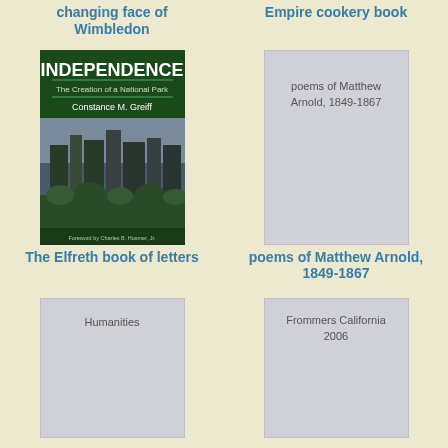changing face of Wimbledon
Empire cookery book
[Figure (photo): Book cover: INDEPENDENCE The Creation of a National Park by Constance M. Greiff, foreword by Charles B. Hosmer Jr.]
[Figure (illustration): Placeholder book cover for poems of Matthew Arnold, 1849-1867]
The Elfreth book of letters
poems of Matthew Arnold, 1849-1867
[Figure (illustration): Placeholder book cover for Humanities]
[Figure (illustration): Placeholder book cover for Frommers California 2006]